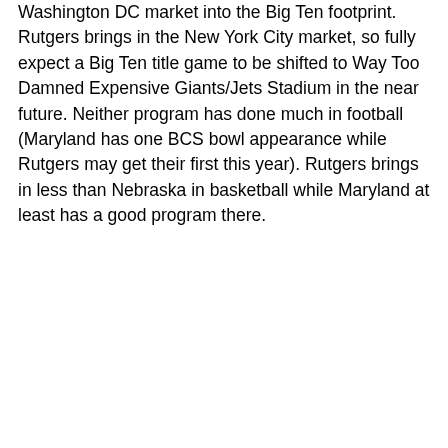Washington DC market into the Big Ten footprint. Rutgers brings in the New York City market, so fully expect a Big Ten title game to be shifted to Way Too Damned Expensive Giants/Jets Stadium in the near future. Neither program has done much in football (Maryland has one BCS bowl appearance while Rutgers may get their first this year). Rutgers brings in less than Nebraska in basketball while Maryland at least has a good program there.